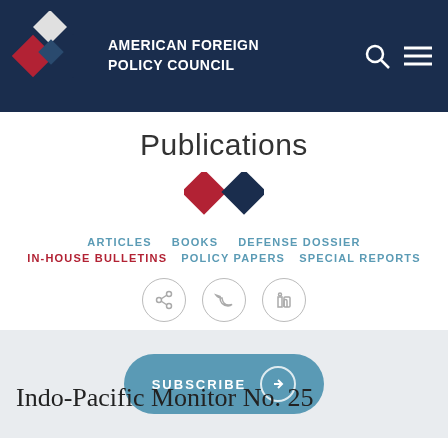AMERICAN FOREIGN POLICY COUNCIL
Publications
ARTICLES   BOOKS   DEFENSE DOSSIER
IN-HOUSE BULLETINS   POLICY PAPERS   SPECIAL REPORTS
[Figure (infographic): Social share icons: share, Twitter, LinkedIn]
[Figure (infographic): Subscribe button with arrow icon]
Indo-Pacific Monitor No. 25